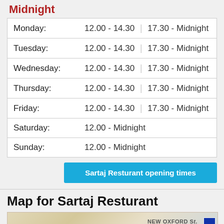Midnight
| Day | Session 1 | Session 2 |
| --- | --- | --- |
| Monday: | 12.00 - 14.30 | 17.30 - Midnight |
| Tuesday: | 12.00 - 14.30 | 17.30 - Midnight |
| Wednesday: | 12.00 - 14.30 | 17.30 - Midnight |
| Thursday: | 12.00 - 14.30 | 17.30 - Midnight |
| Friday: | 12.00 - 14.30 | 17.30 - Midnight |
| Saturday: | 12.00 - Midnight |  |
| Sunday: | 12.00 - Midnight |  |
Sartaj Resturant opening times
Map for Sartaj Resturant
[Figure (map): Street map showing location of Sartaj Resturant near New Oxford Street and Great Russell Street area]